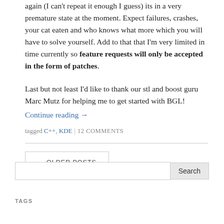again (I can't repeat it enough I guess) its in a very premature state at the moment. Expect failures, crashes, your cat eaten and who knows what more which you will have to solve yourself. Add to that that I'm very limited in time currently so feature requests will only be accepted in the form of patches.
Last but not least I'd like to thank our stl and boost guru Marc Mutz for helping me to get started with BGL!
Continue reading →
tagged C++, KDE | 12 COMMENTS
← OLDER POSTS
Search
TAGS